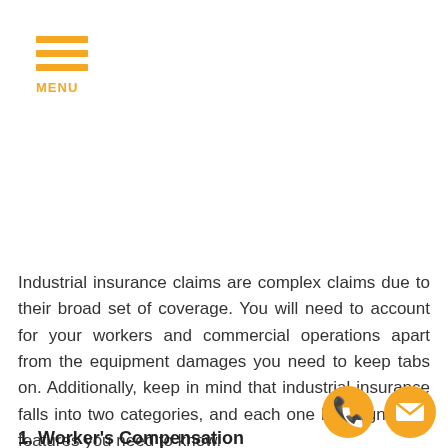[Figure (logo): Orange hamburger menu icon with three horizontal bars and MENU label below]
Industrial insurance claims are complex claims due to their broad set of coverage. You will need to account for your workers and commercial operations apart from the equipment damages you need to keep tabs on. Additionally, keep in mind that industrial insurance falls into two categories, and each one has significant features you need to know.
1. Worker's Compensation
[Figure (illustration): Two circular orange contact icons: a phone receiver icon and an envelope/mail icon, positioned at bottom right]